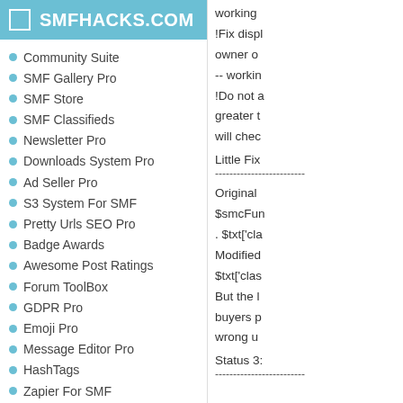SMFHACKS.COM
Community Suite
SMF Gallery Pro
SMF Store
SMF Classifieds
Newsletter Pro
Downloads System Pro
Ad Seller Pro
S3 System For SMF
Pretty Urls SEO Pro
Badge Awards
Awesome Post Ratings
Forum ToolBox
GDPR Pro
Emoji Pro
Message Editor Pro
HashTags
Zapier For SMF
SMF Modifications
Latest SMF Modifications
TopTen Modifications
Styles and Themes
Add a Modification
Manage Modifications
Earn Money from Your
working
!Fix displ
owner o
-- workin
!Do not a
greater t
will chec
Little Fix
------------
Original
$smcFun
. $txt['cla
Modified
$txt['clas
But the l
buyers p
wrong u
Status 3:
------------